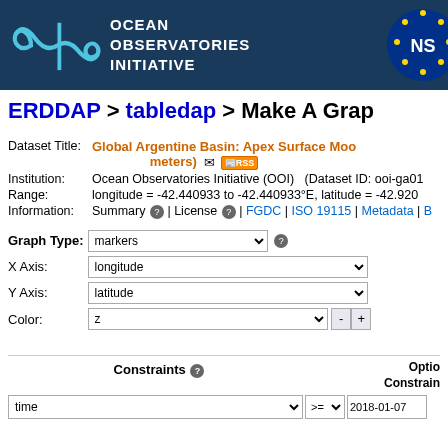[Figure (logo): OOI Ocean Observatories Initiative logo with NSF badge on dark blue background]
ERDDAP > tabledap > Make A Grap
Dataset Title: Global Argentine Basin: Apex Surface Moo meters) [email] [RSS]
Institution: Ocean Observatories Initiative (OOI)   (Dataset ID: ooi-ga01
Range: longitude = -42.440933 to -42.440933°E, latitude = -42.920
Information: Summary | License | FGDC | ISO 19115 | Metadata | B
Graph Type: markers
X Axis: longitude
Y Axis: latitude
Color: z
Constraints [?]
time >= 2018-01-07